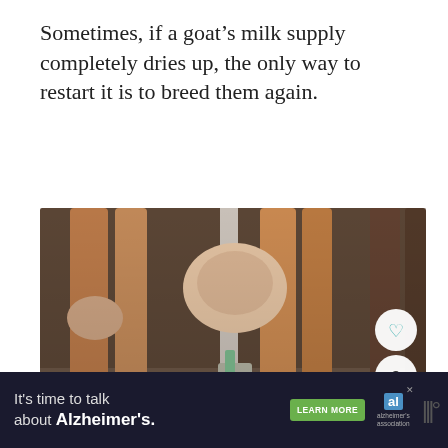Sometimes, if a goat’s milk supply completely dries up, the only way to restart it is to breed them again.
[Figure (photo): Close-up photo of goats being milked, showing their legs, udders, and milking equipment attached below.]
It’s time to talk about Alzheimer’s. LEARN MORE